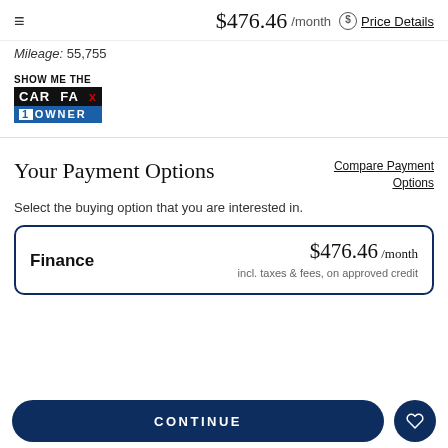$476.46 /month  Price Details
Mileage: 55,755
[Figure (logo): CARFAX 1 Owner logo — black and blue badge with text SHOW ME THE CARFAX 1OWNER]
Your Payment Options
Compare Payment Options
Select the buying option that you are interested in.
Finance   $476.46 /month   incl. taxes & fees, on approved credit
CONTINUE